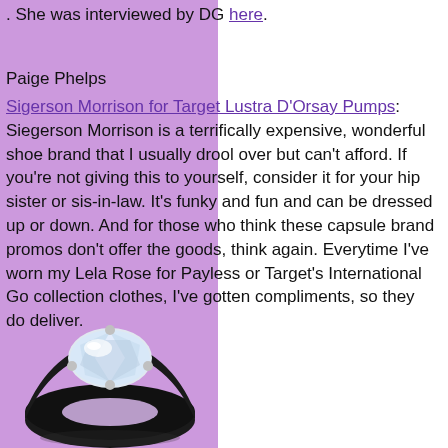. She was interviewed by DG here.
Paige Phelps
Sigerson Morrison for Target Lustra D'Orsay Pumps: Siegerson Morrison is a terrifically expensive, wonderful shoe brand that I usually drool over but can't afford. If you're not giving this to yourself, consider it for your hip sister or sis-in-law. It's funky and fun and can be dressed up or down. And for those who think these capsule brand promos don't offer the goods, think again. Everytime I've worn my Lela Rose for Payless or Target's International Go collection clothes, I've gotten compliments, so they do deliver.
[Figure (photo): A silver ring with a large clear/crystal gemstone set in a black band, photographed against a white background.]